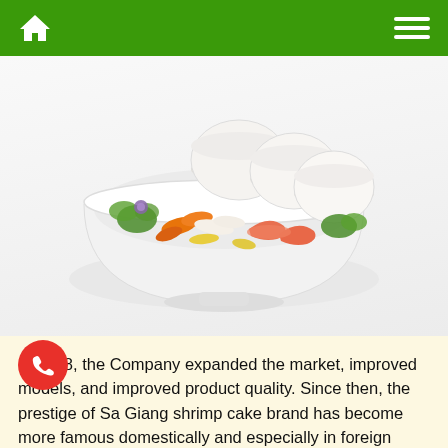Home | Menu
[Figure (photo): A white bowl filled with shrimp cakes (round white discs) and colorful seafood and vegetables including shrimp, carrots, green herbs, and other garnishes, on a white background.]
In 1998, the Company expanded the market, improved models, and improved product quality. Since then, the prestige of Sa Giang shrimp cake brand has become more famous domestically and especially in foreign markets such as UK,